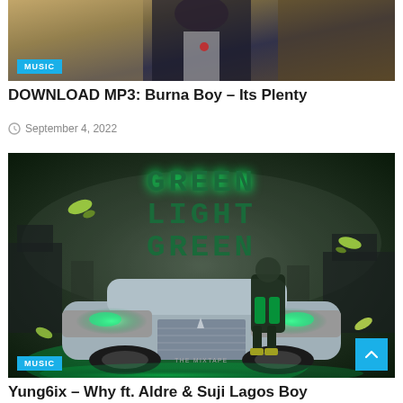[Figure (photo): Top cropped image showing a person in a dark jacket with gold/brown background, with a MUSIC badge overlay]
DOWNLOAD MP3: Burna Boy – Its Plenty
September 4, 2022
[Figure (photo): Album cover art for 'Green Light Green' mixtape showing a luxury car with green glowing headlights and a figure in green outfit, with MUSIC badge overlay]
Yung6ix – Why ft. Aldre & Suji Lagos Boy